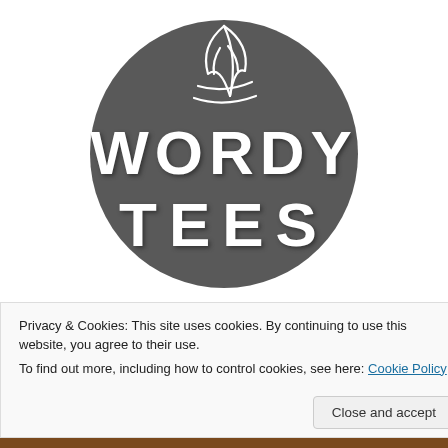[Figure (logo): Wordy Tees circular logo: dark grey circle with a stylized leaf/feather graphic at top and the text WORDY TEES in white block letters]
Privacy & Cookies: This site uses cookies. By continuing to use this website, you agree to their use.
To find out more, including how to control cookies, see here: Cookie Policy
Close and accept
THE FOREIGN WESTERN